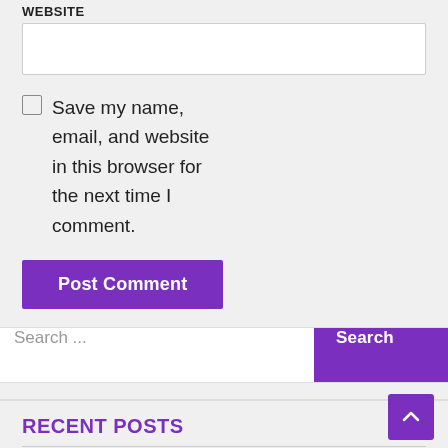WEBSITE
Save my name, email, and website in this browser for the next time I comment.
Post Comment
Search ...
RECENT POSTS
Bean Machine Mlo/Ymap/Map For FiveM by UncleJust